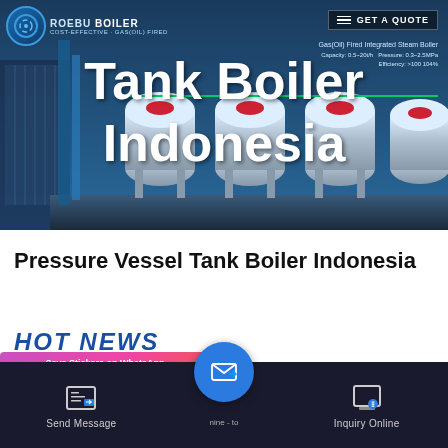[Figure (screenshot): Hero banner image showing industrial boiler/pressure vessel tanks in a factory setting with blue industrial background. Overlay text reads 'Tank Boiler Indonesia'. Company logo top-left with COST-EFFECTIVE tagline. GET A QUOTE button top-right with hamburger menu icon. Small spec text visible on right side. Green underline accent visible.]
Tank Boiler
Indonesia
Pressure Vessel Tank Boiler Indonesia
HOT NEWS
Save Stickers on WhatsApp
Send Message
nine - to
Inquiry Online